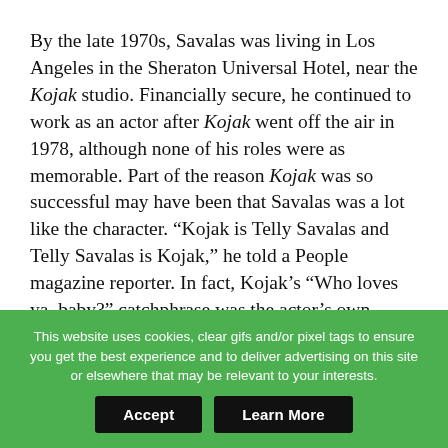By the late 1970s, Savalas was living in Los Angeles in the Sheraton Universal Hotel, near the Kojak studio. Financially secure, he continued to work as an actor after Kojak went off the air in 1978, although none of his roles were as memorable. Part of the reason Kojak was so successful may have been that Savalas was a lot like the character. “Kojak is Telly Savalas and Telly Savalas is Kojak,” he told a People magazine reporter. In fact, Kojak’s “Who loves ya, baby?” catchphrase was the actor’s own—long before the television show had even started.
This website uses cookies, clear gifs and/or pixel tags to ensure you get the best experience and to deliver advertising on this site or elsewhere that may be relevant to your interests.